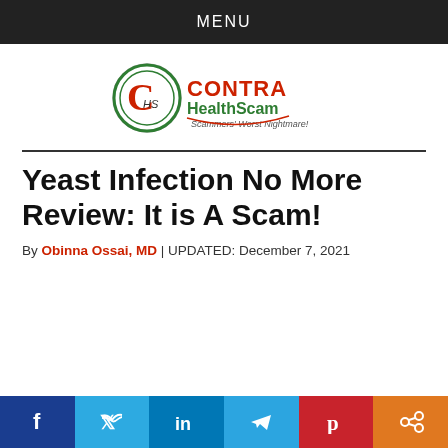MENU
[Figure (logo): ContraHealthScam logo with CHS emblem and text 'CONTRA HealthScam – Scammers' Worst Nightmare!']
Yeast Infection No More Review: It is A Scam!
By Obinna Ossai, MD | UPDATED: December 7, 2021